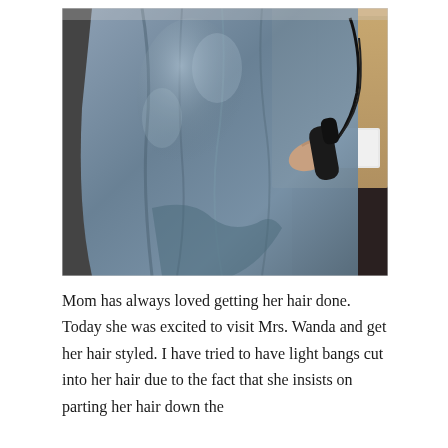[Figure (photo): A person wearing a blue/grey shiny salon cape sitting in a hair salon chair. A hand holding a hair dryer or similar tool is visible on the right side of the image. Salon equipment and wooden cabinet visible in the background.]
Mom has always loved getting her hair done. Today she was excited to visit Mrs. Wanda and get her hair styled. I have tried to have light bangs cut into her hair due to the fact that she insists on parting her hair down the